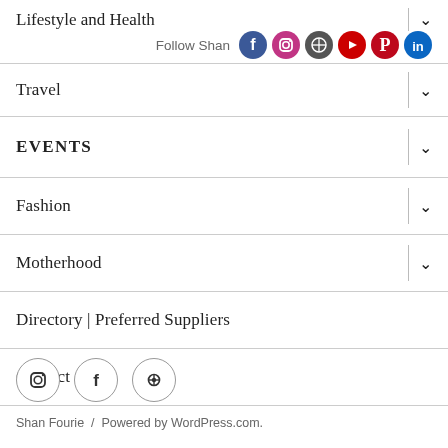Lifestyle and Health
Travel
EVENTS
Fashion
Motherhood
Directory | Preferred Suppliers
Contact
[Figure (infographic): Three circular social media icon buttons: Instagram, Facebook, and WordPress]
Shan Fourie  /  Powered by WordPress.com.